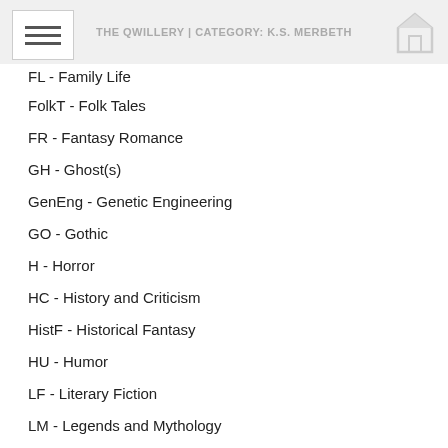THE QWILLERY | CATEGORY: K.S. MERBETH
FL - Family Life
FolkT - Folk Tales
FR - Fantasy Romance
GH - Ghost(s)
GenEng - Genetic Engineering
GO - Gothic
H - Horror
HC - History and Criticism
HistF - Historical Fantasy
HU - Humor
LF - Literary Fiction
LM - Legends and Mythology
M - Mystery
MR - Magical Realism
MTI - Media Tie-In
Noir - Noir
Occ - Occult